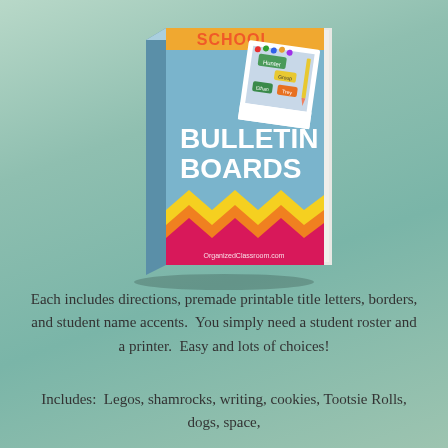[Figure (illustration): 3D book cover for 'School Bulletin Boards' by OrganizedClassroom.com. The book has a light blue cover with white bold text reading 'BULLETIN BOARDS' and orange text 'SCHOOL' at the top. A Polaroid-style photo shows a bulletin board with student name tags (Hunter, Ethan, Trey). The bottom of the cover has a colorful zigzag pattern in yellow, orange, and pink/magenta.]
Each includes directions, premade printable title letters, borders, and student name accents.  You simply need a student roster and a printer.  Easy and lots of choices!
Includes:  Legos, shamrocks, writing, cookies, Tootsie Rolls, dogs, space,